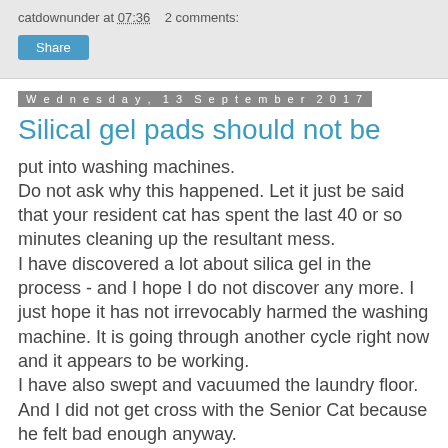catdownunder at 07:36   2 comments:
Share
Wednesday, 13 September 2017
Silical gel pads should not be
put into washing machines.
Do not ask why this happened. Let it just be said that your resident cat has spent the last 40 or so minutes cleaning up the resultant mess.
I have discovered a lot about silica gel in the process - and I hope I do not discover any more. I just hope it has not irrevocably harmed the washing machine. It is going through another cycle right now and it appears to be working.
I have also swept and vacuumed the laundry floor. And I did not get cross with the Senior Cat because he felt bad enough anyway.